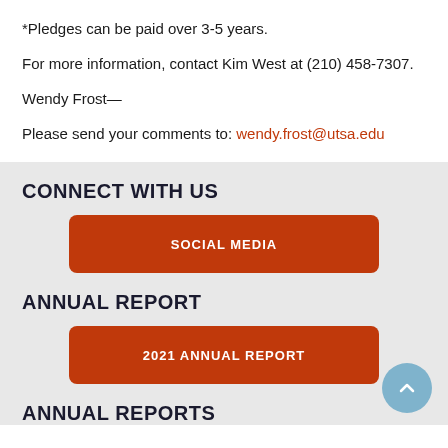*Pledges can be paid over 3-5 years.
For more information, contact Kim West at (210) 458-7307.
Wendy Frost—
Please send your comments to: wendy.frost@utsa.edu
CONNECT WITH US
SOCIAL MEDIA
ANNUAL REPORT
2021 ANNUAL REPORT
ANNUAL REPORTS